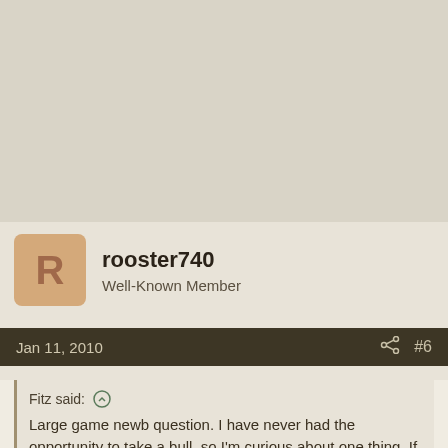[Figure (other): Advertisement or empty banner area with beige/tan background]
rooster740
Well-Known Member
Jan 11, 2010  #6
Fitz said: ↑

Large game newb question. I have never had the opportunity to take a bull, so I'm curious about one thing. If you want to have it mounted, do you just pack out the entire head/cape/horns in one piece? Also, do all of you gut it before quartering it? I've seen